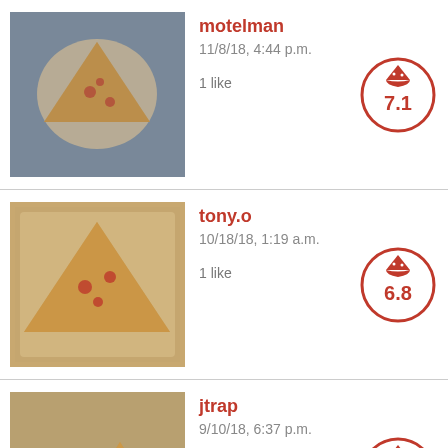[Figure (photo): Photo of pizza slice on white plate, outdoor setting]
motelman
11/8/18, 4:44 p.m.
1 like
[Figure (infographic): Pizza score circle showing 7.1]
[Figure (photo): Photo of pizza slice in takeout container]
tony.o
10/18/18, 1:19 a.m.
1 like
[Figure (infographic): Pizza score circle showing 6.8]
[Figure (photo): Photo of pizza slice with sides on plate]
jtrap
9/10/18, 6:37 p.m.
0 likes
[Figure (infographic): Pizza score circle showing 8.2]
[Figure (logo): One Bite logo with pizza slice icon]
[Figure (infographic): Social media icons: Facebook, Twitter, Instagram, YouTube]